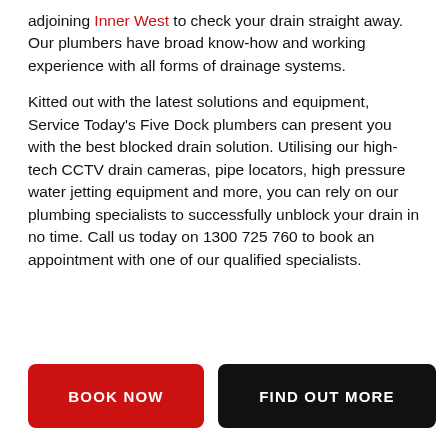adjoining Inner West to check your drain straight away. Our plumbers have broad know-how and working experience with all forms of drainage systems.
Kitted out with the latest solutions and equipment, Service Today's Five Dock plumbers can present you with the best blocked drain solution. Utilising our high-tech CCTV drain cameras, pipe locators, high pressure water jetting equipment and more, you can rely on our plumbing specialists to successfully unblock your drain in no time. Call us today on 1300 725 760 to book an appointment with one of our qualified specialists.
BOOK NOW
FIND OUT MORE